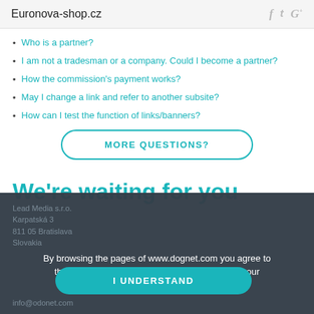Euronova-shop.cz
Who is a partner?
I am not a tradesman or a company. Could I become a partner?
How the commission's payment works?
May I change a link and refer to another subsite?
How can I test the function of links/banners?
MORE QUESTIONS?
We're waiting for you
Lead Media s.r.o.
Karpatská 3
811 05 Bratislava
Slovakia
info@odonet.com
By browsing the pages of www.dognet.com you agree to the use of cookies according to the settings of your browser.
I UNDERSTAND